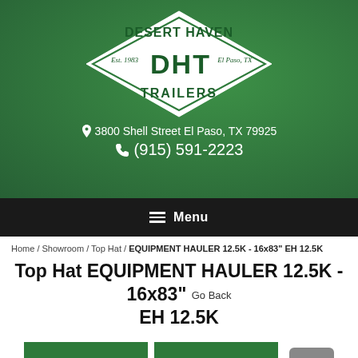[Figure (logo): Desert Haven Trailers (DHT) diamond-shaped logo with 'Est. 1983' and 'El Paso, TX', white diamond on dark green background]
3800 Shell Street El Paso, TX 79925
(915) 591-2223
Menu
Home / Showroom / Top Hat / EQUIPMENT HAULER 12.5K - 16x83" EH 12.5K
Top Hat EQUIPMENT HAULER 12.5K - 16x83" EH 12.5K
REQUEST MORE INFO
COMPARE